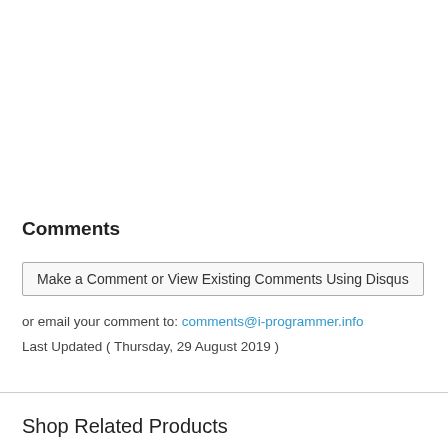Comments
Make a Comment or View Existing Comments Using Disqus
or email your comment to: comments@i-programmer.info
Last Updated ( Thursday, 29 August 2019 )
Shop Related Products